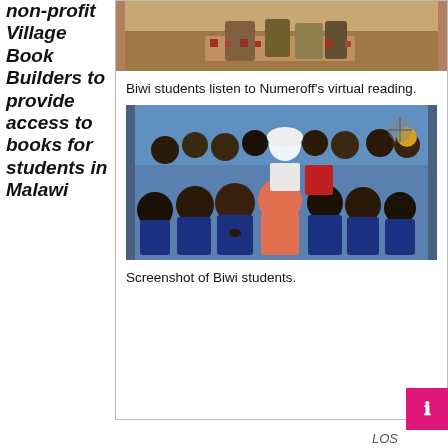non-profit Village Book Builders to provide access to books for students in Malawi
[Figure (photo): Photo of students at top, partially visible]
Biwi students listen to Numeroff's virtual reading.
[Figure (photo): Screenshot of a large group of Biwi students in a classroom, many children visible]
Screenshot of Biwi students.
LOS